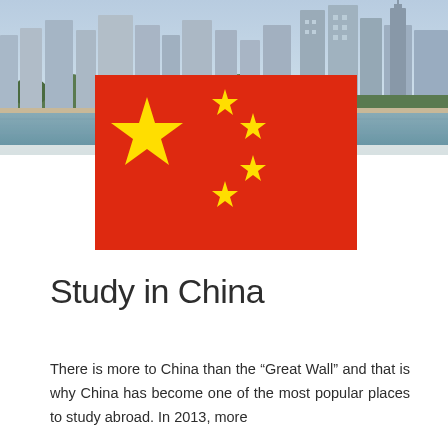[Figure (photo): Cityscape photograph showing urban skyline with tall buildings, trees along a waterfront, taken from across a river or water body.]
[Figure (illustration): Chinese national flag (Five-star Red Flag) — red background with one large yellow star and four smaller yellow stars arranged in an arc to the right.]
Study in China
There is more to China than the “Great Wall” and that is why China has become one of the most popular places to study abroad. In 2013, more